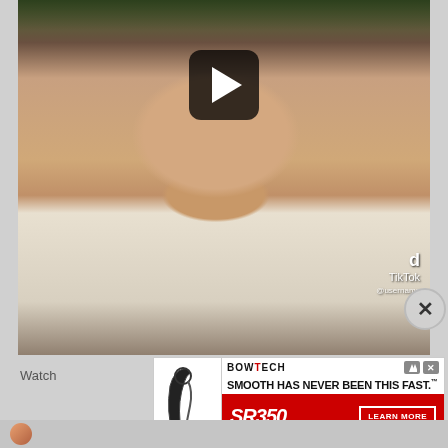[Figure (screenshot): Video thumbnail from TikTok showing a smiling woman with dark hair and tattoos wearing a white tank top, with a play button overlay in the upper center area. TikTok watermark visible in lower right corner.]
[Figure (screenshot): Advertisement banner for Bowtech SR350 compound bow. Text reads: BOWTECH, SMOOTH HAS NEVER BEEN THIS FAST., SR350, LEARN MORE button. Red and white color scheme with image of compound bow on left.]
Watch